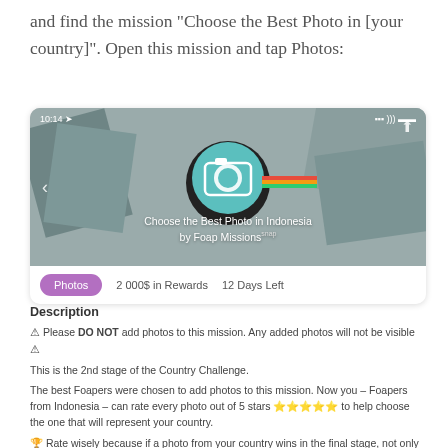and find the mission "Choose the Best Photo in [your country]". Open this mission and tap Photos:
[Figure (screenshot): Mobile app screenshot showing the 'Choose the Best Photo in Indonesia by Foap Missions' mission screen, with a Photos tab active, 2 000$ in Rewards, 12 Days Left]
Description
⚠ Please DO NOT add photos to this mission. Any added photos will not be visible ⚠
This is the 2nd stage of the Country Challenge.
The best Foapers were chosen to add photos to this mission. Now you – Foapers from Indonesia – can rate every photo out of 5 stars ⭐⭐⭐⭐⭐ to help choose the one that will represent your country.
🏆 Rate wisely because if a photo from your country wins in the final stage, not only will the author of the photo get $500, but you will also get a $300 mission available just for your country, giving you a much higher